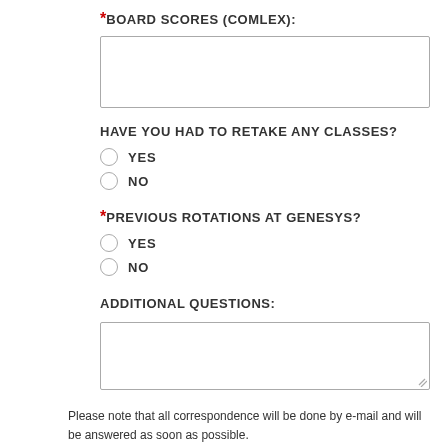*BOARD SCORES (COMLEX):
[text input box]
HAVE YOU HAD TO RETAKE ANY CLASSES?
YES
NO
*PREVIOUS ROTATIONS AT GENESYS?
YES
NO
ADDITIONAL QUESTIONS:
[text input box]
Please note that all correspondence will be done by e-mail and will be answered as soon as possible.